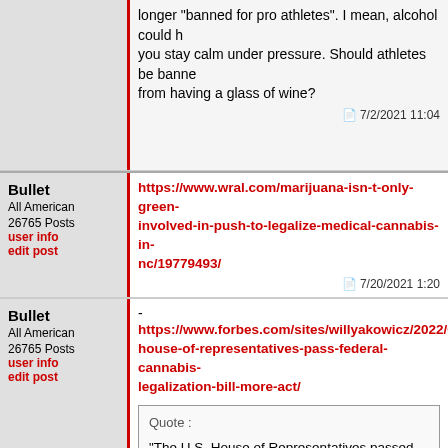longer "banned for pro athletes". I mean, alcohol could help you stay calm under pressure. Should athletes be banned from having a glass of wine?
7/2/2021 11:04
Bullet
All American
26765 Posts
user info
edit post
https://www.wral.com/marijuana-isn-t-only-green-involved-in-push-to-legalize-medical-cannabis-in-nc/19779493/
7/20/2021 1:20
Bullet
All American
26765 Posts
user info
edit post
-
https://www.forbes.com/sites/willyakowicz/2022/04/0 house-of-representatives-pass-federal-cannabis-legalization-bill-more-act/
Quote :
"The U.S. House of Representatives passed the MORE Act, a bill that would end the federal prohibition on cannabis by removing it from the list of banned controlled substances. This is the second time the bill passed the House; however, it will face strong headwinds in the Senate. "
4/1/2022 2:02
The Coz
Tempus Fugitive
20321 Posts
user info
[Figure (photo): Partial photo of a person]